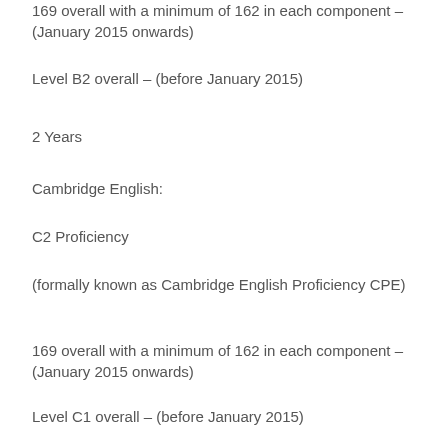169 overall with a minimum of 162 in each component – (January 2015 onwards)
Level B2 overall – (before January 2015)
2 Years
Cambridge English:
C2 Proficiency
(formally known as Cambridge English Proficiency CPE)
169 overall with a minimum of 162 in each component – (January 2015 onwards)
Level C1 overall – (before January 2015)
2 Years